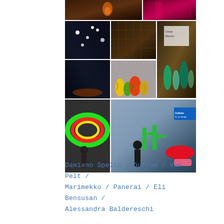[Figure (photo): Collage of 7 interior design and exhibition photography images: top row shows a restaurant interior with orange lamp and a pink/magenta lit shelf; middle row shows a dark lit room with pendant lights, boxes/drawers display, and colorful ceramic vases; another shows 'Cheap Murano' glass pieces; bottom row shows a child with a large colorful mirror/ring sculpture, and a Gufram exhibition space with red lips sofa and cactus sculptures]
Damiano Spelta / Gufram / Von Pelt / Marimekko / Panerai / Eli Bensusan / Alessandra Baldereschi